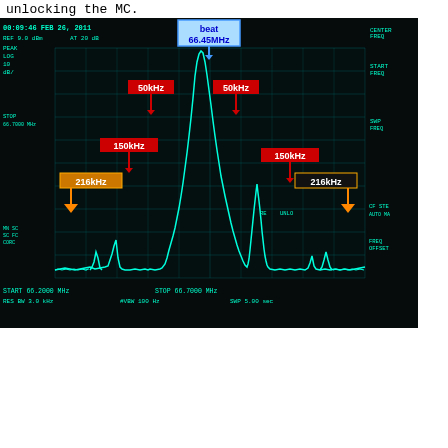unlocking the MC.
[Figure (continuous-plot): Spectrum analyzer screenshot dated 00:09:46 FEB 26, 2011. Shows a frequency spectrum from 66.2000 MHz to 66.7000 MHz with a dominant central peak labeled 'beat 66.45MHz' (blue label). Sidebands are annotated: 50kHz (red, two arrows left and right of center), 150kHz (red, two arrows further out), 216kHz (orange/amber, two large arrows at outer edges). The display shows REF 9.0 dBm, AT 20 dB, PEAK LOG 10 dB/, RES BW 3.0 kHz, VBW 100 Hz, SWP 5.00 sec. Teal/cyan waveform on dark background.]
Quote: #4351 by Aidan
So, on the vertex PD, the power of the 80MHz +/-200kHz sidebands relative to the 80MHz beatnote.

Once we get the green and IR locked to the arm again, we're